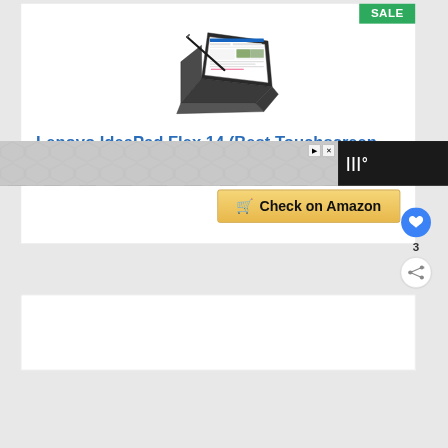[Figure (photo): Lenovo IdeaPad Flex 14 laptop in tent mode with stylus pen, showing a document/Word interface on screen. Device is dark grey/black colored.]
SALE
Lenovo IdeaPad Flex 14 (Best Touchscreen Laptop for Teachers)
[Figure (screenshot): Check on Amazon button with shopping cart icon, heart/favorite button showing count of 3, and share button]
[Figure (infographic): WHAT'S NEXT arrow label with avatar thumbnail and link text '7 BEST travel laptops for...']
[Figure (screenshot): Advertisement banner at bottom with hexagonal pattern background and Wordable logo]